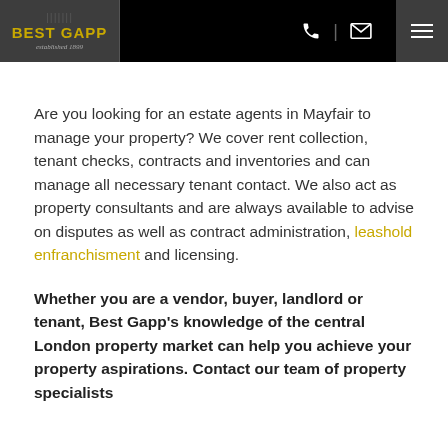BEST GAPP — established 1899
Are you looking for an estate agents in Mayfair to manage your property? We cover rent collection, tenant checks, contracts and inventories and can manage all necessary tenant contact. We also act as property consultants and are always available to advise on disputes as well as contract administration, leashold enfranchisment and licensing.
Whether you are a vendor, buyer, landlord or tenant, Best Gapp's knowledge of the central London property market can help you achieve your property aspirations. Contact our team of property specialists